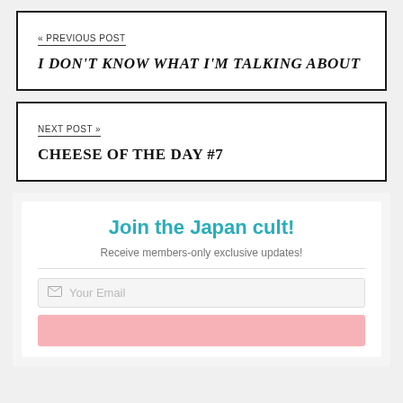« PREVIOUS POST
I DON'T KNOW WHAT I'M TALKING ABOUT
NEXT POST »
CHEESE OF THE DAY #7
Join the Japan cult!
Receive members-only exclusive updates!
Your Email